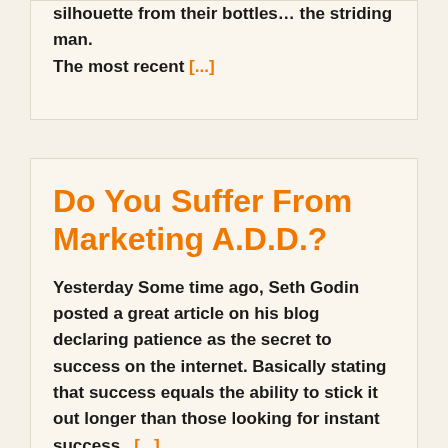silhouette from their bottles… the striding man. The most recent [...]
Do You Suffer From Marketing A.D.D.?
Yesterday Some time ago, Seth Godin posted a great article on his blog declaring patience as the secret to success on the internet. Basically stating that success equals the ability to stick it out longer than those looking for instant success. [...]